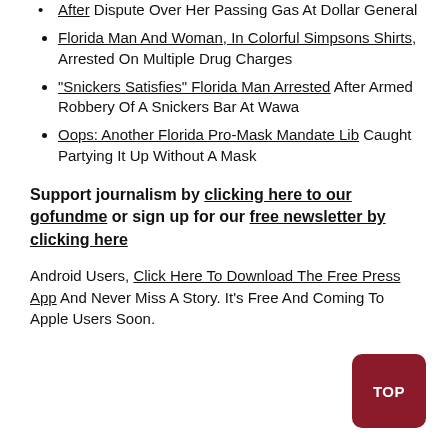After Dispute Over Her Passing Gas At Dollar General
Florida Man And Woman, In Colorful Simpsons Shirts, Arrested On Multiple Drug Charges
"Snickers Satisfies" Florida Man Arrested After Armed Robbery Of A Snickers Bar At Wawa
Oops: Another Florida Pro-Mask Mandate Lib Caught Partying It Up Without A Mask
Support journalism by clicking here to our gofundme or sign up for our free newsletter by clicking here
Android Users, Click Here To Download The Free Press App And Never Miss A Story. It's Free And Coming To Apple Users Soon.